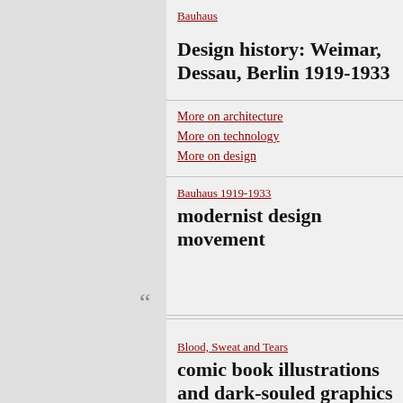Bauhaus
Design history: Weimar, Dessau, Berlin 1919-1933
More on architecture
More on technology
More on design
Bauhaus 1919-1933
modernist design movement
Blood, Sweat and Tears
comic book illustrations and dark-souled graphics